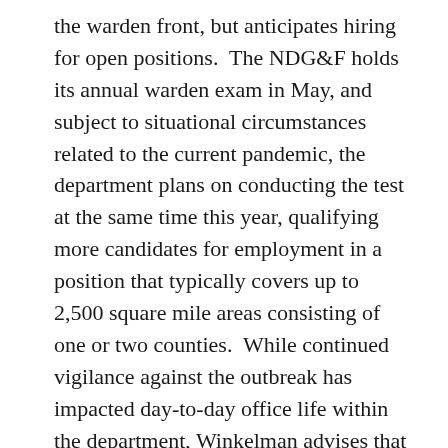the warden front, but anticipates hiring for open positions.  The NDG&F holds its annual warden exam in May, and subject to situational circumstances related to the current pandemic, the department plans on conducting the test at the same time this year, qualifying more candidates for employment in a position that typically covers up to 2,500 square mile areas consisting of one or two counties.  While continued vigilance against the outbreak has impacted day-to-day office life within the department, Winkelman advises that wardens – whose jobs are often solitary and consist of significant time in the field – are continuing on much the same for the most part. “Right now it hasn’t affected us, we’re